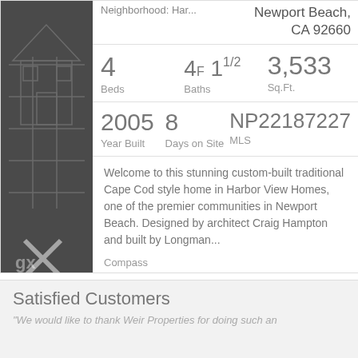Neighborhood: Har...
Newport Beach, CA 92660
| Beds | Baths | Sq.Ft. |
| --- | --- | --- |
| 4 | 4F 1 1/2 | 3,533 |
| Year Built | Days on Site | MLS |
| --- | --- | --- |
| 2005 | 8 | NP22187227 |
Welcome to this stunning custom-built traditional Cape Cod style home in Harbor View Homes, one of the premier communities in Newport Beach. Designed by architect Craig Hampton and built by Longman...
Compass
Satisfied Customers
"We would like to thank Weir Properties for doing such an